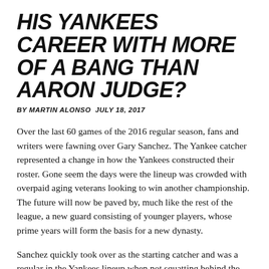HIS YANKEES CAREER WITH MORE OF A BANG THAN AARON JUDGE?
BY MARTIN ALONSO JULY 18, 2017
Over the last 60 games of the 2016 regular season, fans and writers were fawning over Gary Sanchez. The Yankee catcher represented a change in how the Yankees constructed their roster. Gone seem the days were the lineup was crowded with overpaid aging veterans looking to win another championship. The future will now be paved by, much like the rest of the league, a new guard consisting of younger players, whose prime years will form the basis for a new dynasty.
Sanchez quickly took over as the starting catcher and was a regular in the Yankees lineup when not squatting behind the plate. At the end of his second stint, he produced 2.6 WARP while batting 299/.376/.657, becoming a favorite – and deserving